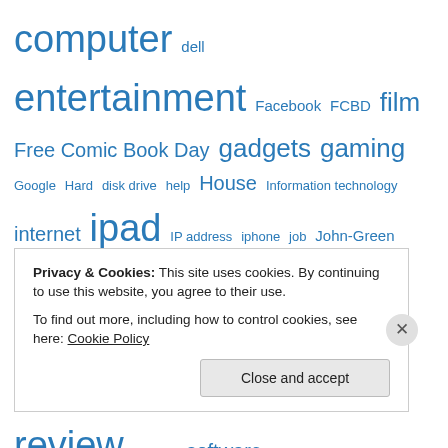computer dell entertainment Facebook FCBD film Free Comic Book Day gadgets gaming Google Hard disk drive help House Information technology internet ipad IP address iphone job John-Green Melbourne Microsoft Windows movie music netbook Nitemice notebook Personal computer review security software supanova technology traineeship Travel university USB Wi-Fi windows
Privacy & Cookies: This site uses cookies. By continuing to use this website, you agree to their use. To find out more, including how to control cookies, see here: Cookie Policy